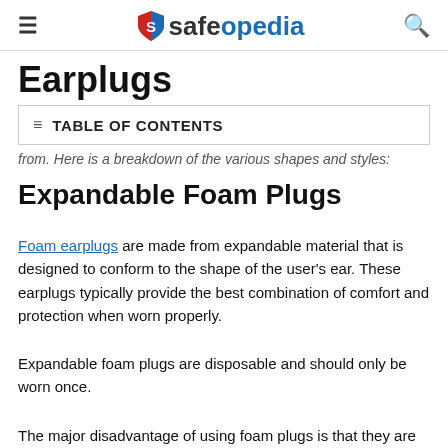safeopedia
Earplugs
TABLE OF CONTENTS
from. Here is a breakdown of the various shapes and styles:
Expandable Foam Plugs
Foam earplugs are made from expandable material that is designed to conform to the shape of the user's ear. These earplugs typically provide the best combination of comfort and protection when worn properly.
Expandable foam plugs are disposable and should only be worn once.
The major disadvantage of using foam plugs is that they are